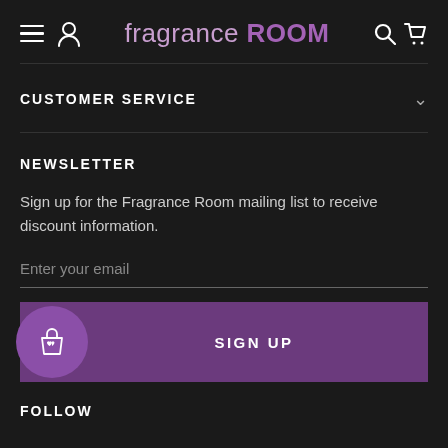fragrance ROOM
CUSTOMER SERVICE
NEWSLETTER
Sign up for the Fragrance Room mailing list to receive discount information.
Enter your email
SIGN UP
FOLLOW